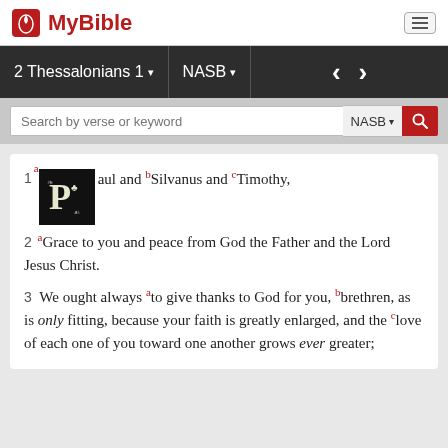MyBible
2 Thessalonians 1 | NASB
Search by verse or keyword | NASB
1 a Paul and b Silvanus and c Timothy,
2 a Grace to you and peace from God the Father and the Lord Jesus Christ.
3 We ought always a to give thanks to God for you, b brethren, as is only fitting, because your faith is greatly enlarged, and the c love of each one of you toward one another grows ever greater;